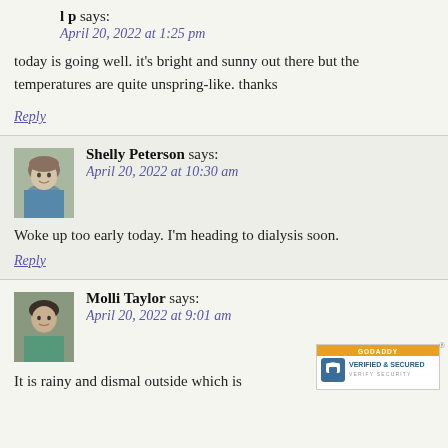l p says:
April 20, 2022 at 1:25 pm
today is going well. it's bright and sunny out there but the temperatures are quite unspring-like. thanks
Reply
Shelly Peterson says:
April 20, 2022 at 10:30 am
Woke up too early today. I'm heading to dialysis soon.
Reply
Molli Taylor says:
April 20, 2022 at 9:01 am
It is rainy and dismal outside which is
[Figure (logo): GoDaddy Verified & Secured badge]